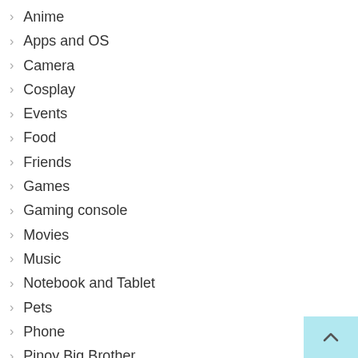Anime
Apps and OS
Camera
Cosplay
Events
Food
Friends
Games
Gaming console
Movies
Music
Notebook and Tablet
Pets
Phone
Pinoy Big Brother
Technology
Television
Travel